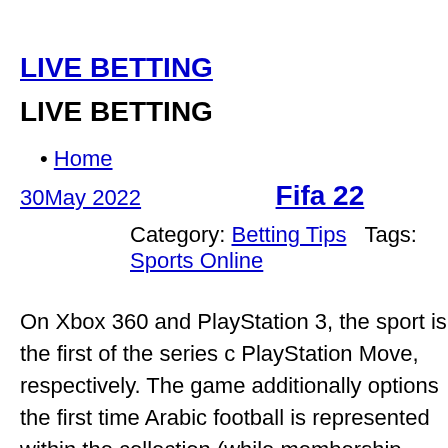LIVE BETTING
LIVE BETTING
Home
30May 2022
Fifa 22
Category: Betting Tips   Tags: Sports Online
On Xbox 360 and PlayStation 3, the sport is the first of the series co PlayStation Move, respectively. The game additionally options the first time Arabic football is represented within the collection (while membership groups from the Arab world, it was generic groups wit FIFA eleven was launched 28 September 2010 in North America an